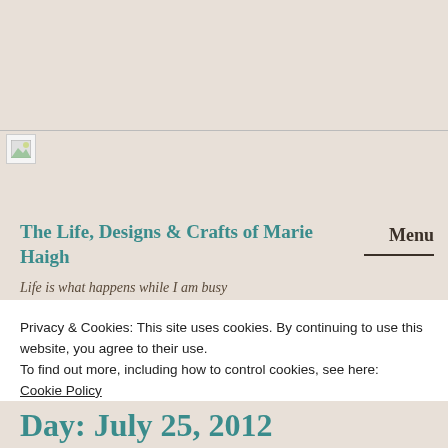[Figure (photo): Broken/placeholder image icon in the top left area of the page header]
The Life, Designs & Crafts of Marie Haigh
Menu
Life is what happens while I am busy
Privacy & Cookies: This site uses cookies. By continuing to use this website, you agree to their use.
To find out more, including how to control cookies, see here:
Cookie Policy
Close and accept
Day: July 25, 2012